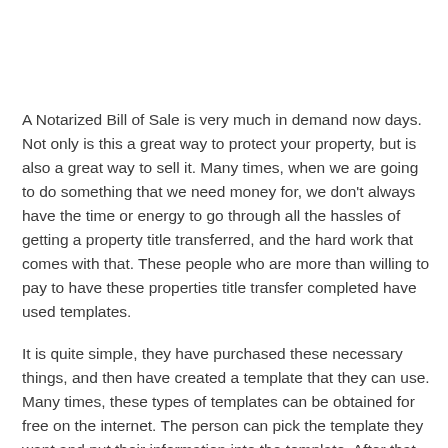A Notarized Bill of Sale is very much in demand now days. Not only is this a great way to protect your property, but is also a great way to sell it. Many times, when we are going to do something that we need money for, we don't always have the time or energy to go through all the hassles of getting a property title transferred, and the hard work that comes with that. These people who are more than willing to pay to have these properties title transfer completed have used templates.
It is quite simple, they have purchased these necessary things, and then have created a template that they can use. Many times, these types of templates can be obtained for free on the internet. The person can pick the template they want and put their information into the template. After that, they will just save the template and print out whatever documents they want to give to the buyer of the property.